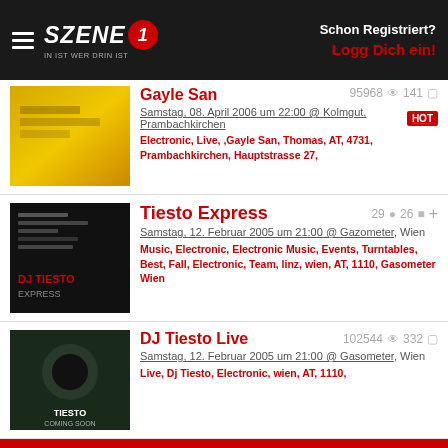Szene1 - In ist wer drin ist | Schon Registriert? Logg Dich ein!
Gayle San
Samstag, 08. April 2006 um 22:00 @ Kolmgut, Prambachkirchen
95968  141  HOT
Electronic, Live, ,Gayle San, Thomas, AT, 4731, Prambachkirchen, Hauptstrasse 27,
Tiesto Express
Samstag, 12. Februar 2005 um 21:00 @ Gazometer, Wien
29  26
Music, Electronic, Electronic Music, Events, Turntables, Best, Fall, Electronic, Team, linz, wien, AT, 1110, Gasometer Wien
DJ Tiesto Live
Samstag, 12. Februar 2005 um 21:00 @ Gasometer, Wien
102544  332
Live, Dj Tiesto, Electronic, wien, AT, 1110,
Diese Internetseite verarbeitet Cookies.
Cookie-Einstellungen
Alle Cookies zulassen